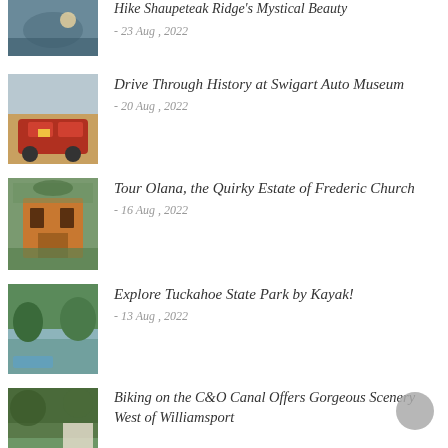[Figure (photo): Water reflection photo, partial at top]
Hike Shaupeteak Ridge's Mystical Beauty
- 23 Aug , 2022
[Figure (photo): Red antique car / fire truck at Swigart Auto Museum]
Drive Through History at Swigart Auto Museum
- 20 Aug , 2022
[Figure (photo): Olana estate building, brick structure with trees]
Tour Olana, the Quirky Estate of Frederic Church
- 16 Aug , 2022
[Figure (photo): Tuckahoe State Park kayaking on water with trees]
Explore Tuckahoe State Park by Kayak!
- 13 Aug , 2022
[Figure (photo): C&O Canal scenery with trees and building]
Biking on the C&O Canal Offers Gorgeous Scenery West of Williamsport